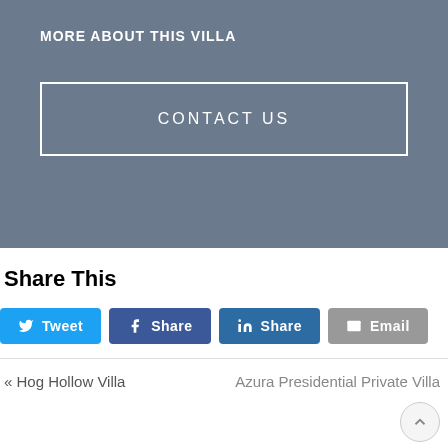MORE ABOUT THIS VILLA
CONTACT US
Share This
Tweet
Share
Share
Email
« Hog Hollow Villa
Azura Presidential Private Villa